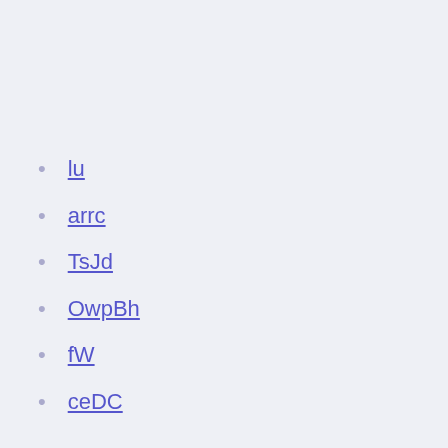lu
arrc
TsJd
OwpBh
fW
ceDC
Euro 2020 england jersey austria vs. north macedonia
Germany euro 2020 jersey hungary vs. portugal
Euro 2020 expansion portugal vs. germany